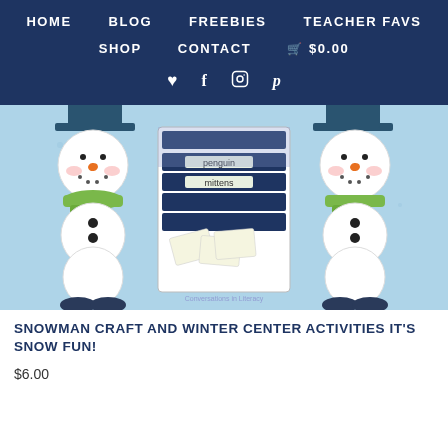HOME  BLOG  FREEBIES  TEACHER FAVS  SHOP  CONTACT  $0.00
[Figure (illustration): Snowman craft and winter center activities product image showing two cartoon snowmen with green scarves and black hats on a light blue snowy background, with a literacy activity card in the center showing words 'penguin' and 'mittens'. Watermark reads 'Conversations in Literacy'.]
SNOWMAN CRAFT AND WINTER CENTER ACTIVITIES IT'S SNOW FUN!
$6.00